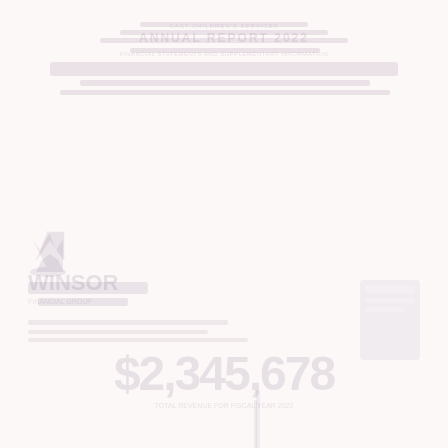[Figure (other): Heavily faded/watermarked financial document page with a company logo (stylized crown/shield icon with text 'WINSOR' or similar), large bold numbers, a vertical bar element, and header text. The page appears to be a cover or summary page with very low opacity overlaid graphics. A light blue circle is visible near the center-right. Text and numbers are extremely faint pink-grey on white/near-white background.]